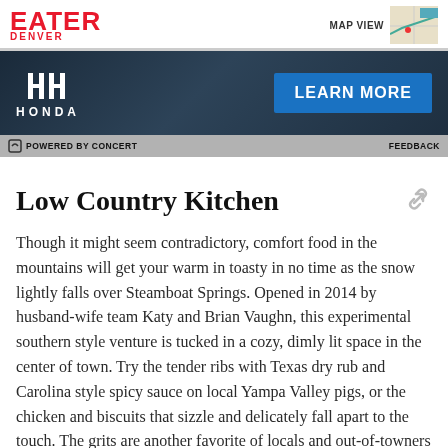EATER DENVER | MAP VIEW
[Figure (screenshot): Honda advertisement banner with Honda logo on dark background and blue LEARN MORE button]
POWERED BY CONCERT   FEEDBACK
Low Country Kitchen
Though it might seem contradictory, comfort food in the mountains will get your warm in toasty in no time as the snow lightly falls over Steamboat Springs. Opened in 2014 by husband-wife team Katy and Brian Vaughn, this experimental southern style venture is tucked in a cozy, dimly lit space in the center of town. Try the tender ribs with Texas dry rub and Carolina style spicy sauce on local Yampa Valley pigs, or the chicken and biscuits that sizzle and delicately fall apart to the touch. The grits are another favorite of locals and out-of-towners